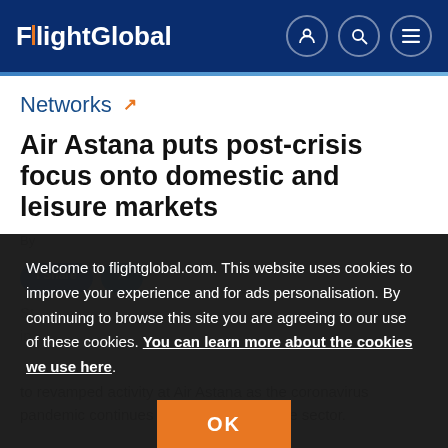FlightGlobal
Networks
Air Astana puts post-crisis focus onto domestic and leisure markets
By
Welcome to flightglobal.com. This website uses cookies to improve your experience and for ads personalisation. By continuing to browse this site you are agreeing to our use of these cookies. You can learn more about the cookies we use here.
OK
St in to revamped activity at Air Astana as the coronavirus pandemic continues to reshape the airline sector.